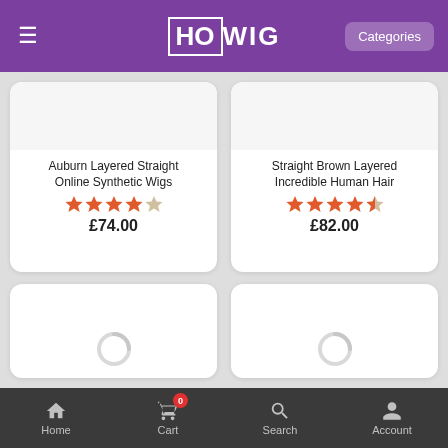[Figure (screenshot): HOWIG app header with hamburger menu, logo, and Categories button]
Auburn Layered Straight Online Synthetic Wigs
★★★★★ (5 stars)
£74.00
Straight Brown Layered Incredible Human Hair
★★★★½ (4.5 stars)
£82.00
[Figure (screenshot): Loading spinner for product card 3]
[Figure (screenshot): Loading spinner for product card 4]
Home
Cart 0
Search
Account